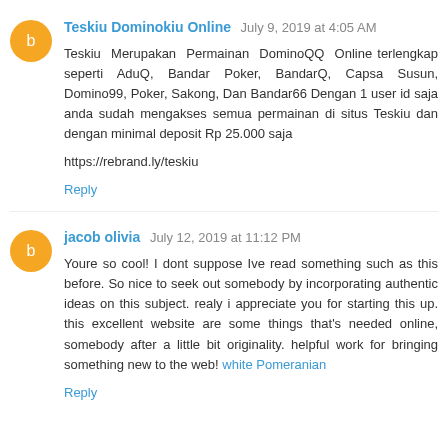Teskiu Dominokiu Online  July 9, 2019 at 4:05 AM
Teskiu Merupakan Permainan DominoQQ Online terlengkap seperti AduQ, Bandar Poker, BandarQ, Capsa Susun, Domino99, Poker, Sakong, Dan Bandar66 Dengan 1 user id saja anda sudah mengakses semua permainan di situs Teskiu dan dengan minimal deposit Rp 25.000 saja

https://rebrand.ly/teskiu
Reply
jacob olivia  July 12, 2019 at 11:12 PM
Youre so cool! I dont suppose Ive read something such as this before. So nice to seek out somebody by incorporating authentic ideas on this subject. realy i appreciate you for starting this up. this excellent website are some things that's needed online, somebody after a little bit originality. helpful work for bringing something new to the web! white Pomeranian
Reply